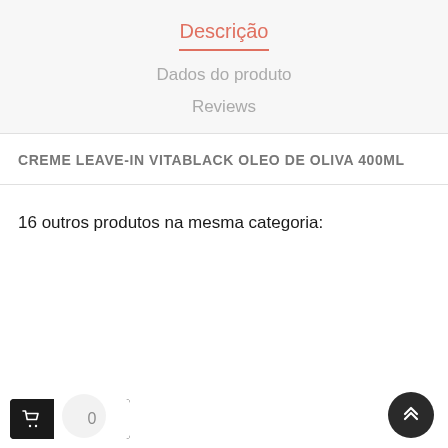Descrição
Dados do produto
Reviews
CREME LEAVE-IN VITABLACK OLEO DE OLIVA 400ML
16 outros produtos na mesma categoria: